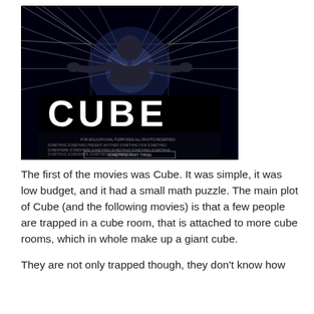[Figure (photo): Movie poster for 'CUBE' — dark background with a person in the center surrounded by glowing radiating lines forming a cube tunnel effect, with the title 'CUBE' in large white block letters at the bottom, and small credits text below]
The first of the movies was Cube. It was simple, it was low budget, and it had a small math puzzle. The main plot of Cube (and the following movies) is that a few people are trapped in a cube room, that is attached to more cube rooms, which in whole make up a giant cube.
They are not only trapped though, they don't know how